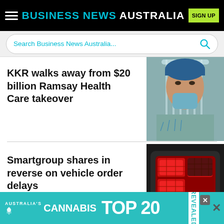BUSINESS NEWS AUSTRALIA
Search Business News Australia...
KKR walks away from $20 billion Ramsay Health Care takeover
[Figure (photo): Healthcare worker in PPE — face shield, mask, and blue gloves]
Smartgroup shares in reverse on vehicle order delays
[Figure (photo): Car tail light glowing red in the dark]
[Figure (infographic): Australia's Cannabis TOP 20 REVEALED advertisement banner]